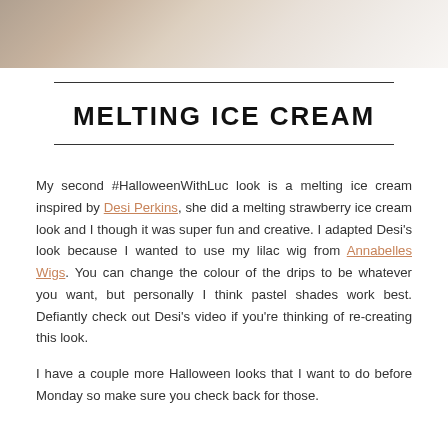[Figure (photo): Top portion of a person's face with blonde hair, cropped at the bottom of the page header area]
MELTING ICE CREAM
My second #HalloweenWithLuc look is a melting ice cream inspired by Desi Perkins, she did a melting strawberry ice cream look and I though it was super fun and creative. I adapted Desi's look because I wanted to use my lilac wig from Annabelles Wigs. You can change the colour of the drips to be whatever you want, but personally I think pastel shades work best. Defiantly check out Desi's video if you're thinking of re-creating this look.
I have a couple more Halloween looks that I want to do before Monday so make sure you check back for those.